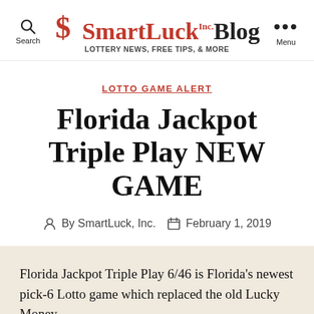SmartLuck Inc. Blog — LOTTERY NEWS, FREE TIPS, & MORE
LOTTO GAME ALERT
Florida Jackpot Triple Play NEW GAME
By SmartLuck, Inc.   February 1, 2019
Florida Jackpot Triple Play 6/46 is Florida's newest pick-6 Lotto game which replaced the old Lucky Money